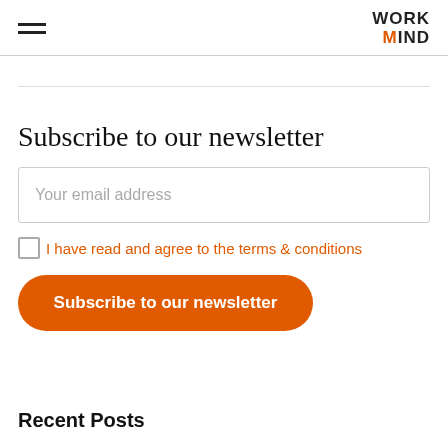WORKMIND
Subscribe to our newsletter
Your email address
I have read and agree to the terms & conditions
Subscribe to our newsletter
Recent Posts